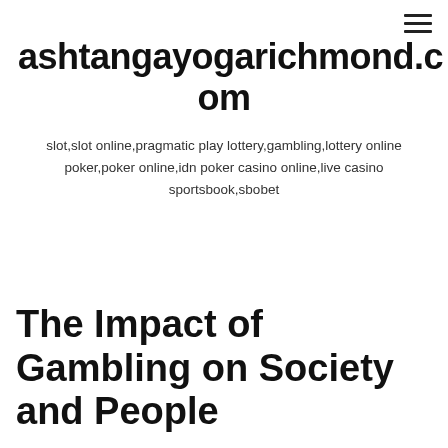≡
ashtangayogarichmond.com
slot,slot online,pragmatic play lottery,gambling,lottery online poker,poker online,idn poker casino online,live casino sportsbook,sbobet
The Impact of Gambling on Society and People